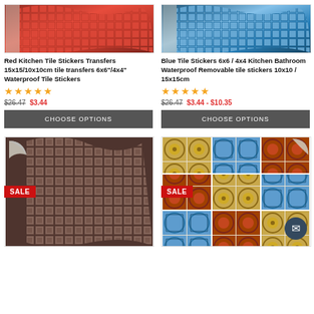[Figure (photo): Red mosaic tile sticker product image, wavy curled sheet]
[Figure (photo): Blue mosaic tile sticker product image, wavy curled sheet]
Red Kitchen Tile Stickers Transfers 15x15/10x10cm tile transfers 6x6"/4x4" Waterproof Tile Stickers
Blue Tile Stickers 6x6 / 4x4 Kitchen Bathroom Waterproof Removable tile stickers 10x10 / 15x15cm
★★★★★ (stars rating)
★★★★★ (stars rating)
$26.47 $3.44
$26.47 $3.44 - $10.35
CHOOSE OPTIONS
CHOOSE OPTIONS
SALE
SALE
[Figure (photo): Brown copper mosaic tile sticker product image, peeling corner]
[Figure (photo): Colorful mandala/moroccan tile sticker set product image]